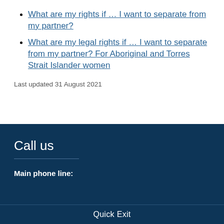What are my rights if … I want to separate from my partner?
What are my legal rights if … I want to separate from my partner? For Aboriginal and Torres Strait Islander women
Last updated 31 August 2021
Call us
Main phone line:
Quick Exit